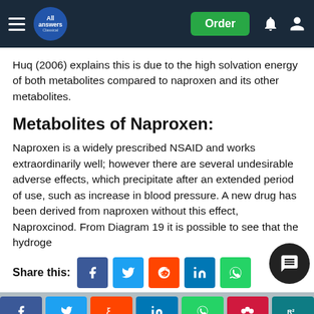All Answers — navigation bar with Order button
Huq (2006) explains this is due to the high solvation energy of both metabolites compared to naproxen and its other metabolites.
Metabolites of Naproxen:
Naproxen is a widely prescribed NSAID and works extraordinarily well; however there are several undesirable adverse effects, which precipitate after an extended period of use, such as increase in blood pressure. A new drug has been derived from naproxen without this effect, Naproxcinod. From Diagram 19 it is possible to see that the hydroge
Share this: [Facebook] [Twitter] [Reddit] [LinkedIn] [WhatsApp]
Cite This Work